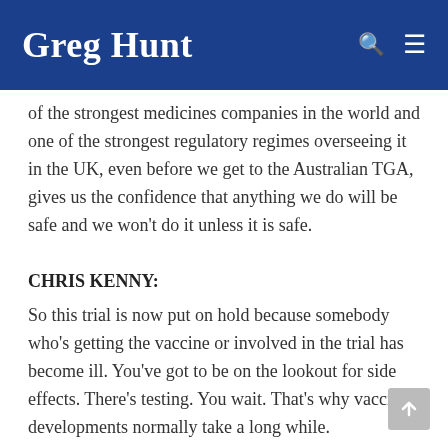Greg Hunt
of the strongest medicines companies in the world and one of the strongest regulatory regimes overseeing it in the UK, even before we get to the Australian TGA, gives us the confidence that anything we do will be safe and we won’t do it unless it is safe.
CHRIS KENNY:
So this trial is now put on hold because somebody who’s getting the vaccine or involved in the trial has become ill. You’ve got to be on the lookout for side effects. There’s testing. You wait. That’s why vaccine developments normally take a long while.